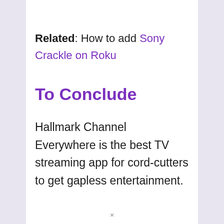Related: How to add Sony Crackle on Roku
To Conclude
Hallmark Channel Everywhere is the best TV streaming app for cord-cutters to get gapless entertainment.